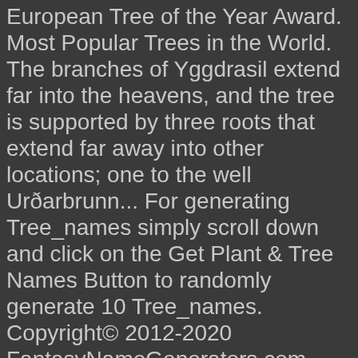European Tree of the Year Award. Most Popular Trees in the World. The branches of Yggdrasil extend far into the heavens, and the tree is supported by three roots that extend far away into other locations; one to the well Urðarbrunn... For generating Tree_names simply scroll down and click on the Get Plant & Tree Names Button to randomly generate 10 Tree_names. Copyright© 2012-2020 FantasyNameGenerators.com. Well, for starters, it's the national tree of Chile. The list includes actual trees located throughout the world, as well as trees from myths. Ancient tree reckoned to be well over 2,000 years old with a massive girth. The age was estimated at 5,000 years. Estimated 300 years old and 20 m tall, it is one of the oldest known trees in. A 200 feet (61 m) tall redwood that became notable when environmental activist. The site of a police standoff with a mentally ill man. Once described as "the oldest known tree in the city of Los Angeles", it fell on February 7, 1998, due to strong winds from an. A huge sprawling willow on the grounds of the former. Name Species Location Age (years) Notes Cypress of Abarkuh: Cypress (Cypress is ... A Worl